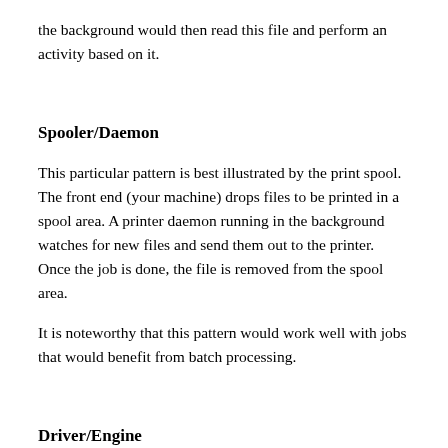the background would then read this file and perform an activity based on it.
Spooler/Daemon
This particular pattern is best illustrated by the print spool. The front end (your machine) drops files to be printed in a spool area. A printer daemon running in the background watches for new files and send them out to the printer. Once the job is done, the file is removed from the spool area.
It is noteworthy that this pattern would work well with jobs that would benefit from batch processing.
Driver/Engine